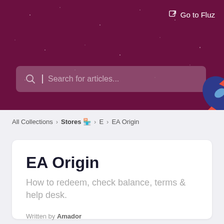Go to Fluz
[Figure (screenshot): Search bar with placeholder text 'Search for articles...' on dark maroon background]
All Collections > Stores 🏪 > E > EA Origin
EA Origin
How to redeem, check balance, terms & help desk.
Written by Amador
Updated over a week ago